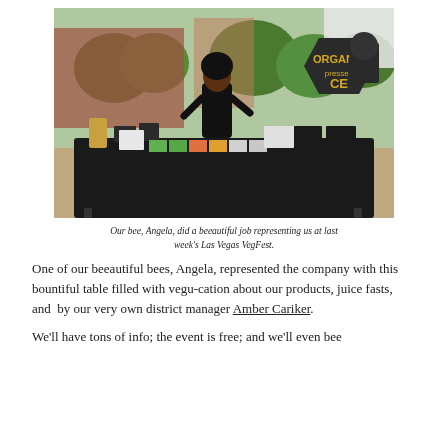[Figure (photo): A person standing behind a black-cloth-covered table at an outdoor market or festival booth. The table is covered with products, pamphlets, and display items. A large sign reading 'ORGANIC' is visible in the background. Green trees and a brick building are visible outdoors.]
Our bee, Angela, did a beeautiful job representing us at last week's Las Vegas VegFest.
One of our beeautiful bees, Angela, represented the company with this bountiful table filled with vegu-cation about our products, juice fasts, and  by our very own district manager Amber Cariker.
We'll have tons of info; the event is free; and we'll even bee